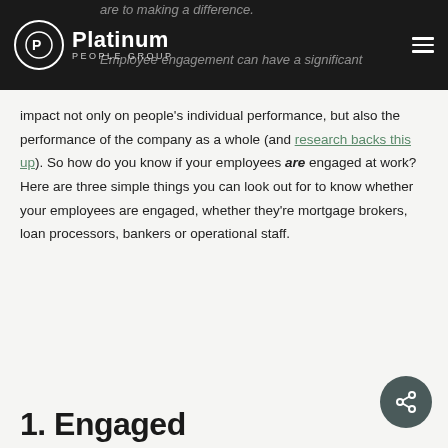Platinum People Group
impact not only on people's individual performance, but also the performance of the company as a whole (and research backs this up). So how do you know if your employees are engaged at work? Here are three simple things you can look out for to know whether your employees are engaged, whether they're mortgage brokers, loan processors, bankers or operational staff.
1. Engaged